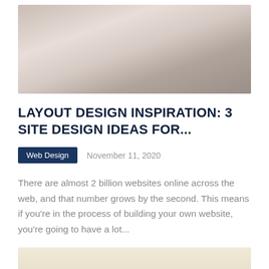[Figure (photo): Blurred banner image with warm beige and grey tones, likely a header photograph for a web design article]
LAYOUT DESIGN INSPIRATION: 3 SITE DESIGN IDEAS FOR...
Web Design   November 11, 2020
There are almost 2 billion websites online across the web, and that number grows by the second. This means if you're in the process of building your own website, you're going to have a lot...
[Figure (photo): Partial bottom image with light beige/cream tones, partially visible at bottom of page]